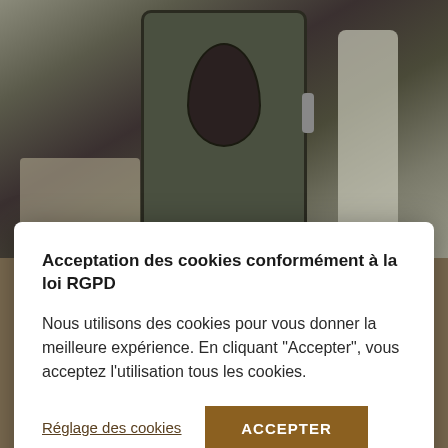[Figure (photo): Photo of a wellness/spa equipment — a large dark green/olive-colored pod or capsule with an arched window/mirror, with a side panel and shelf visible in the room]
Acceptation des cookies conformément à la loi RGPD
Nous utilisons des cookies pour vous donner la meilleure expérience. En cliquant "Accepter", vous acceptez l'utilisation tous les cookies.
Réglage des cookies
ACCEPTER
entre le pédalage + l'eau entraine une action anticellulite et drainante. A cette activité, nous vous proposons aussi un soin radiofréquance pour remodeler votre silhouette tout en profitant d'un moment de relaxation.